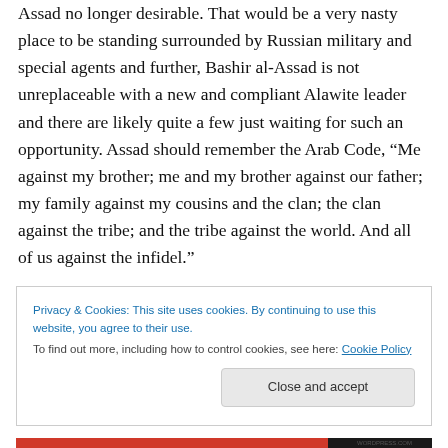Assad no longer desirable. That would be a very nasty place to be standing surrounded by Russian military and special agents and further, Bashir al-Assad is not unreplaceable with a new and compliant Alawite leader and there are likely quite a few just waiting for such an opportunity. Assad should remember the Arab Code, “Me against my brother; me and my brother against our father; my family against my cousins and the clan; the clan against the tribe; and the tribe against the world. And all of us against the infidel.”
Privacy & Cookies: This site uses cookies. By continuing to use this website, you agree to their use.
To find out more, including how to control cookies, see here: Cookie Policy